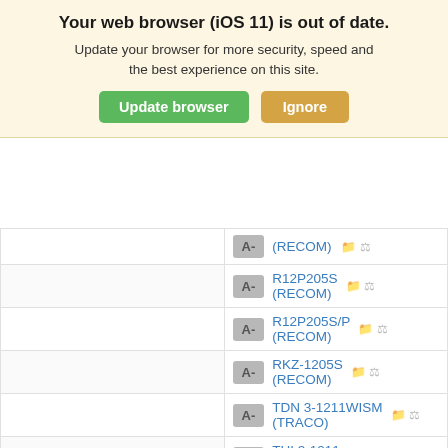Your web browser (iOS 11) is out of date.
Update your browser for more security, speed and the best experience on this site.
Update browser | Ignore
| Grade | Product |
| --- | --- |
| A- | (RECOM) |
| A- | R12P205S (RECOM) |
| A- | R12P205S/P (RECOM) |
| A- | RKZ-1205S (RECOM) |
| A- | TDN 3-1211WISM (TRACO) |
| A- | THI 3-1211 (TRACO) |
| A- | SPBW03F-05 (MW) |